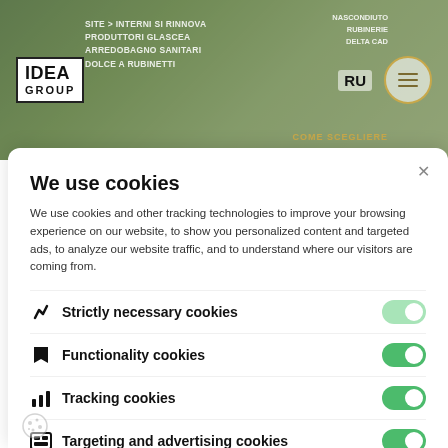[Figure (screenshot): Background header showing IDEA GROUP logo on left, RU text and hamburger menu circle on right, with green/olive website background and overlay text.]
We use cookies
We use cookies and other tracking technologies to improve your browsing experience on our website, to show you personalized content and targeted ads, to analyze our website traffic, and to understand where our visitors are coming from.
Strictly necessary cookies
Functionality cookies
Tracking cookies
Targeting and advertising cookies
Privacy Policy | Accept selected cookies